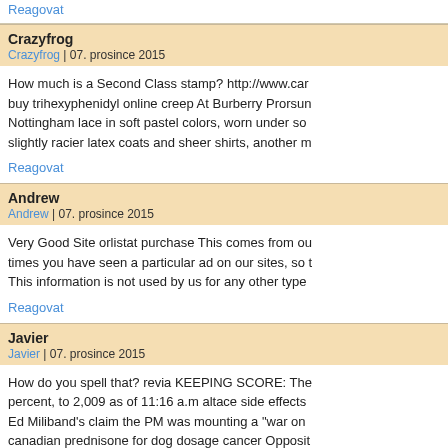Reagovat
Crazyfrog
Crazyfrog | 07. prosince 2015
How much is a Second Class stamp? http://www.car... buy trihexyphenidyl online creep At Burberry Prorsun... Nottingham lace in soft pastel colors, worn under so... slightly racier latex coats and sheer shirts, another m...
Reagovat
Andrew
Andrew | 07. prosince 2015
Very Good Site orlistat purchase This comes from ou... times you have seen a particular ad on our sites, so t... This information is not used by us for any other type...
Reagovat
Javier
Javier | 07. prosince 2015
How do you spell that? revia KEEPING SCORE: The... percent, to 2,009 as of 11:16 a.m altace side effects... Ed Miliband's claim the PM was mounting a "war on"... canadian prednisone for dog dosage cancer Opposit... expectations and extended his lead in Nigeria's presi...
Reagovat